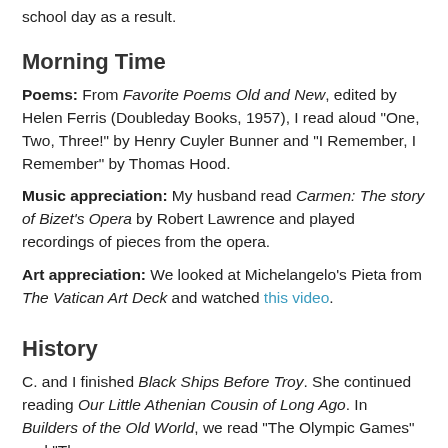school day as a result.
Morning Time
Poems: From Favorite Poems Old and New, edited by Helen Ferris (Doubleday Books, 1957), I read aloud "One, Two, Three!" by Henry Cuyler Bunner and "I Remember, I Remember" by Thomas Hood.
Music appreciation: My husband read Carmen: The story of Bizet's Opera by Robert Lawrence and played recordings of pieces from the opera.
Art appreciation: We looked at Michelangelo's Pieta from The Vatican Art Deck and watched this video.
History
C. and I finished Black Ships Before Troy. She continued reading Our Little Athenian Cousin of Long Ago. In Builders of the Old World, we read "The Olympic Games" and "The